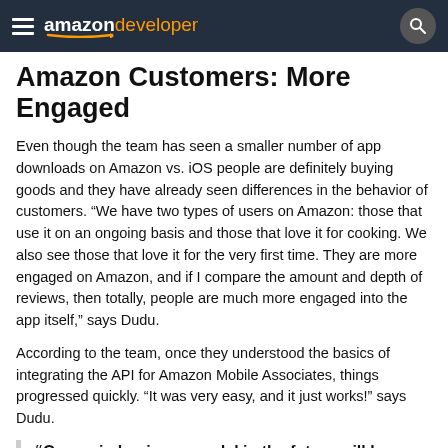amazon developer
Amazon Customers: More Engaged
Even though the team has seen a smaller number of app downloads on Amazon vs. iOS people are definitely buying goods and they have already seen differences in the behavior of customers. “We have two types of users on Amazon: those that use it on an ongoing basis and those that love it for cooking. We also see those that love it for the very first time. They are more engaged on Amazon, and if I compare the amount and depth of reviews, then totally, people are much more engaged into the app itself,” says Dudu.
According to the team, once they understood the basics of integrating the API for Amazon Mobile Associates, things progressed quickly. “It was very easy, and it just works!” says Dudu.
“Our main business model in the future will be ecommerce. We are not there yet, but this is a great step. We are betting everything on ecommerce and we already…